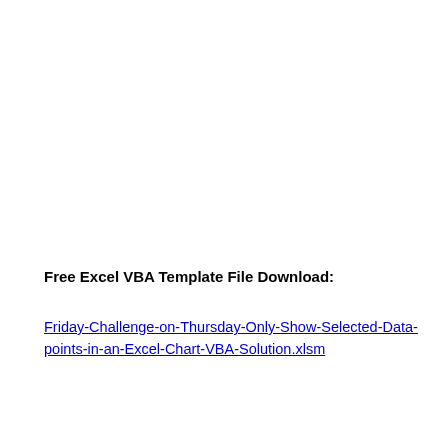Free Excel VBA Template File Download:
Friday-Challenge-on-Thursday-Only-Show-Selected-Data-points-in-an-Excel-Chart-VBA-Solution.xlsm